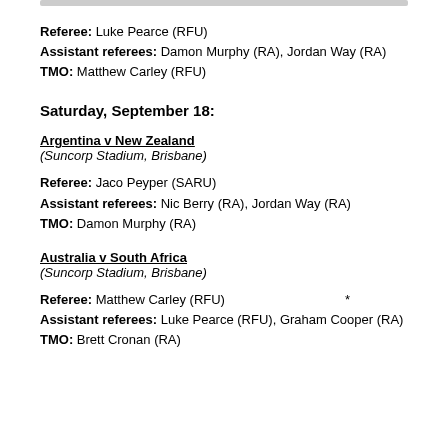Referee: Luke Pearce (RFU)
Assistant referees: Damon Murphy (RA), Jordan Way (RA)
TMO: Matthew Carley (RFU)
Saturday, September 18:
Argentina v New Zealand
(Suncorp Stadium, Brisbane)
Referee: Jaco Peyper (SARU)
Assistant referees: Nic Berry (RA), Jordan Way (RA)
TMO: Damon Murphy (RA)
Australia v South Africa
(Suncorp Stadium, Brisbane)
Referee: Matthew Carley (RFU)
Assistant referees: Luke Pearce (RFU), Graham Cooper (RA)
TMO: Brett Cronan (RA)